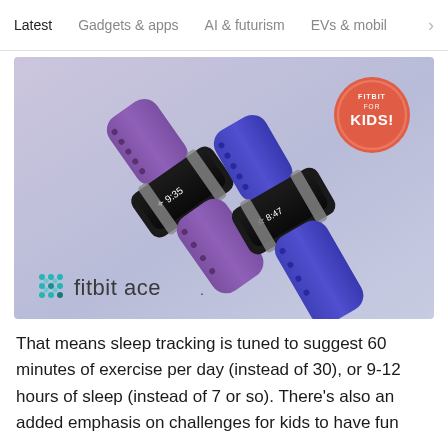Latest   Gadgets & apps   AI & futurism   EVs & mobil >
[Figure (photo): Product photo of two Fitbit Ace fitness trackers for kids — one purple and one blue/violet — with a 'Fitbit for Kids!' badge in the upper right corner and the Fitbit Ace logo in the lower left.]
That means sleep tracking is tuned to suggest 60 minutes of exercise per day (instead of 30), or 9-12 hours of sleep (instead of 7 or so). There's also an added emphasis on challenges for kids to have fun